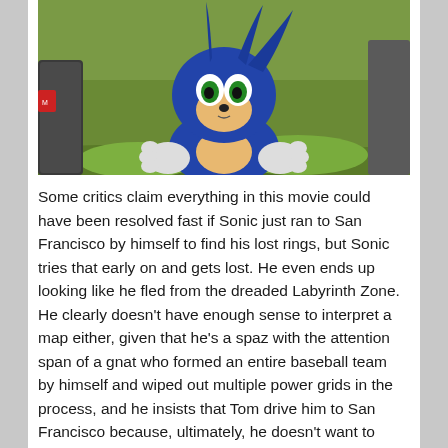[Figure (photo): Photo of a CG-rendered Sonic the Hedgehog character (early movie design) peering over something with a grass field background. The character has blue fur, green eyes, and large white hands visible.]
Some critics claim everything in this movie could have been resolved fast if Sonic just ran to San Francisco by himself to find his lost rings, but Sonic tries that early on and gets lost. He even ends up looking like he fled from the dreaded Labyrinth Zone. He clearly doesn't have enough sense to interpret a map either, given that he's a spaz with the attention span of a gnat who formed an entire baseball team by himself and wiped out multiple power grids in the process, and he insists that Tom drive him to San Francisco because, ultimately, he doesn't want to have another mental breakdown due to loneliness. This sort of thing only looks like a plot hole if you're like Dr. Robotnik and demand that the characters in your fiction be coldly efficient and logical robots, which real living characters never are.